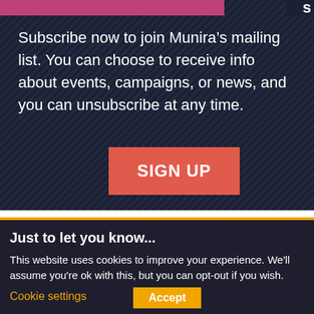s
Subscribe now to join Munira’s mailing list. You can choose to receive info about events, campaigns, or news, and you can unsubscribe at any time.
SIGN UP
Just to let you know...
This website uses cookies to improve your experience. We’ll assume you’re ok with this, but you can opt-out if you wish.
Cookie settings
Accept